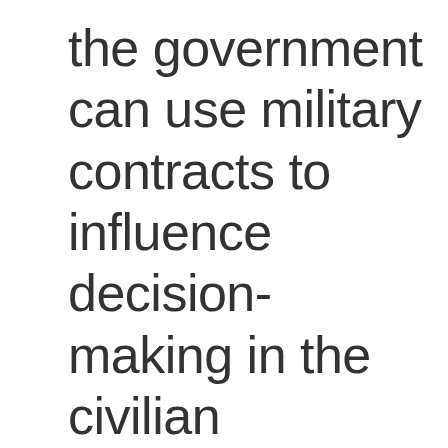the government can use military contracts to influence decision-making in the civilian economy.